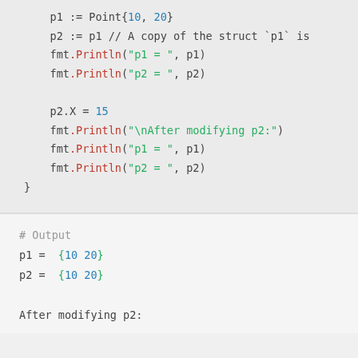p1 := Point{10, 20}
    p2 := p1 // A copy of the struct `p1` is
    fmt.Println("p1 = ", p1)
    fmt.Println("p2 = ", p2)

    p2.X = 15
    fmt.Println("\nAfter modifying p2:")
    fmt.Println("p1 = ", p1)
    fmt.Println("p2 = ", p2)
}
# Output
p1 =  {10 20}
p2 =  {10 20}

After modifying p2: